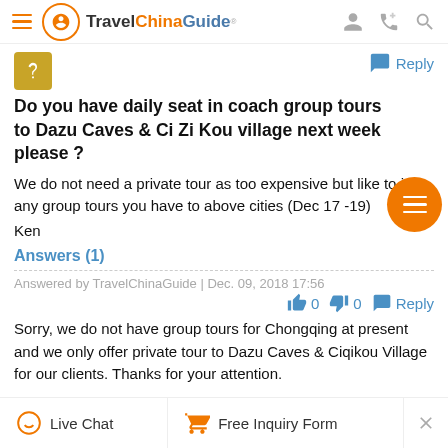Travel China Guide
Do you have daily seat in coach group tours to Dazu Caves & Ci Zi Kou village next week please ?
We do not need a private tour as too expensive but like to join any group tours you have to above cities (Dec 17 -19)
Ken
Answers (1)
Answered by TravelChinaGuide | Dec. 09, 2018 17:56
Sorry, we do not have group tours for Chongqing at present and we only offer private tour to Dazu Caves & Ciqikou Village for our clients. Thanks for your attention.
Live Chat   Free Inquiry Form